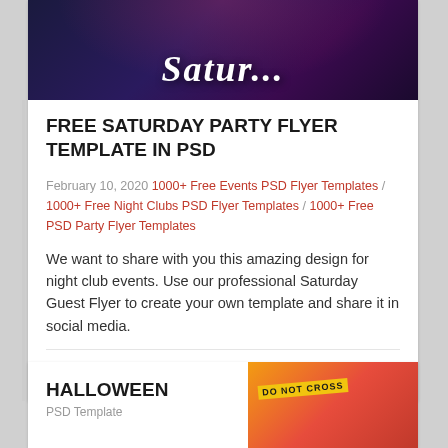[Figure (photo): Dark purple/blue night club party flyer image with stylized script title text, partially visible at top of card]
FREE SATURDAY PARTY FLYER TEMPLATE IN PSD
February 10, 2020 1000+ Free Events PSD Flyer Templates / 1000+ Free Night Clubs PSD Flyer Templates / 1000+ Free PSD Party Flyer Templates
We want to share with you this amazing design for night club events. Use our professional Saturday Guest Flyer to create your own template and share it in social media.
> Read More
[Figure (photo): Halloween themed flyer image partially visible at bottom right of page]
HALLOWEEN
PSD Template